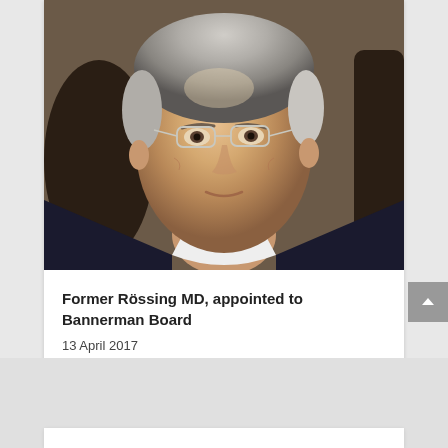[Figure (photo): Portrait photo of a middle-aged man with gray hair, wearing glasses, a white shirt and dark jacket. The photo shows a close-up of his face and upper torso.]
Former Rössing MD, appointed to Bannerman Board
13 April 2017